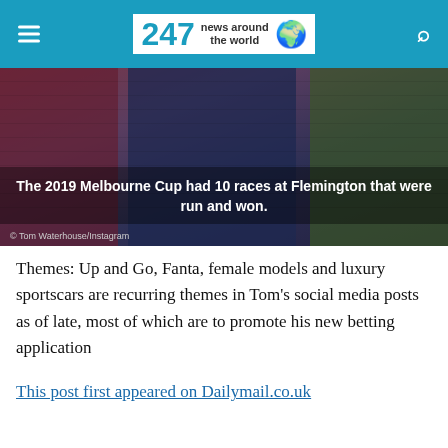247 news around the world
[Figure (photo): Three people seated, two women and a man in the center, in what appears to be a studio or event setting. A trophy is visible in the background. Text overlay reads: 'The 2019 Melbourne Cup had 10 races at Flemington that were run and won.' Credit: © Tom Waterhouse/Instagram]
Themes: Up and Go, Fanta, female models and luxury sportscars are recurring themes in Tom's social media posts as of late, most of which are to promote his new betting application
This post first appeared on Dailymail.co.uk